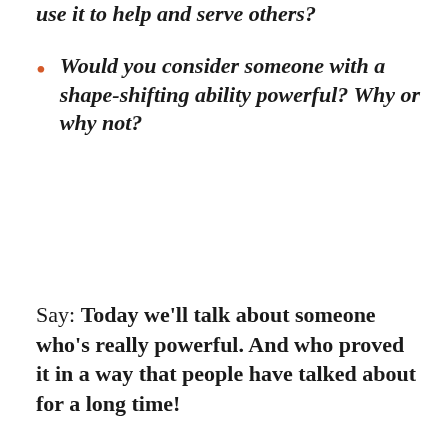use it to help and serve others?
Would you consider someone with a shape-shifting ability powerful? Why or why not?
Say: Today we'll talk about someone who's really powerful. And who proved it in a way that people have talked about for a long time!